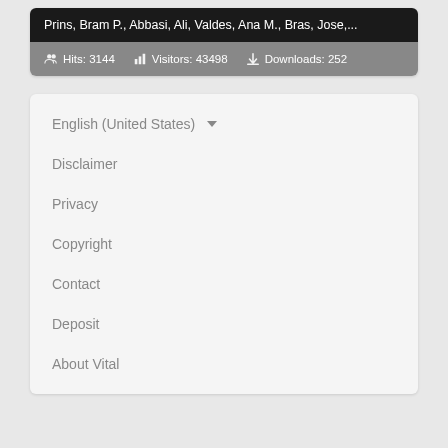Prins, Bram P., Abbasi, Ali, Valdes, Ana M., Bras, Jose,...
Hits: 3144   Visitors: 43498   Downloads: 252
English (United States) ▾
Disclaimer
Privacy
Copyright
Contact
Deposit
About Vital